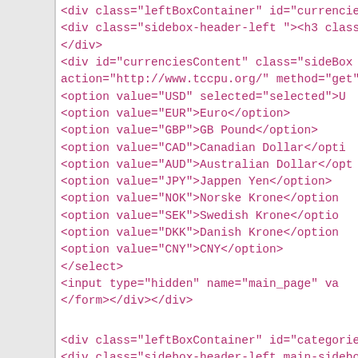<div class="leftBoxContainer" id="currencies"
<div class="sidebox-header-left "><h3 class=
</div>
<div id="currenciesContent" class="sideBox
action="http://www.tccpu.org/" method="get"
<option value="USD" selected="selected">U
<option value="EUR">Euro</option>
<option value="GBP">GB Pound</option>
<option value="CAD">Canadian Dollar</opti
<option value="AUD">Australian Dollar</opt
<option value="JPY">Jappen Yen</option>
<option value="NOK">Norske Krone</option
<option value="SEK">Swedish Krone</optio
<option value="DKK">Danish Krone</option
<option value="CNY">CNY</option>
</select>
<input type="hidden" name="main_page" va
</form></div></div>


<div class="leftBoxContainer" id="categories
<div class="sidebox-header-left main-sidebo
id="categoriesHeading">Categories</h3></d
<div id="categoriesContent" class="sideBox
<div class="categories-top-list no-dots"><a